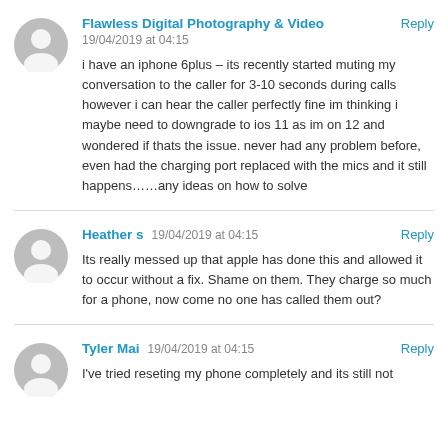Flawless Digital Photography & Video
19/04/2019 at 04:15
Reply
i have an iphone 6plus – its recently started muting my conversation to the caller for 3-10 seconds during calls however i can hear the caller perfectly fine im thinking i maybe need to downgrade to ios 11 as im on 12 and wondered if thats the issue. never had any problem before, even had the charging port replaced with the mics and it still happens……any ideas on how to solve
Heather s
19/04/2019 at 04:15
Reply
Its really messed up that apple has done this and allowed it to occur without a fix. Shame on them. They charge so much for a phone, now come no one has called them out?
Tyler Mai
19/04/2019 at 04:15
Reply
I've tried reseting my phone completely and its still not